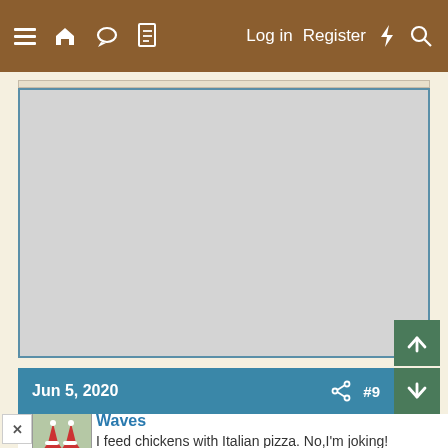≡ 🏠 💬 📄   Log in   Register ⚡ 🔍
[Figure (other): Gray advertisement placeholder box with light blue border]
Jun 5, 2020   #9
Waves
I feed chickens with Italian pizza. No,I'm joking!